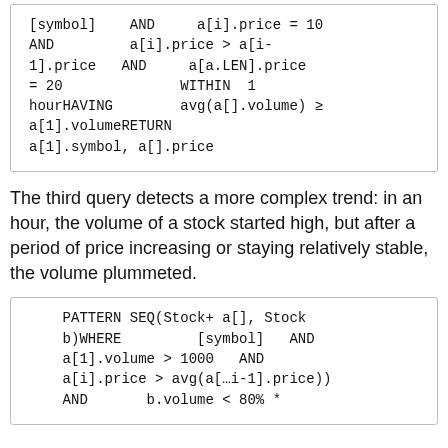[symbol]    AND     a[i].price = 10
AND         a[i].price > a[i-1].price    AND     a[a.LEN].price = 20                WITHIN  1 hourHAVING        avg(a[].volume) ≥ a[1].volumeRETURN a[1].symbol, a[].price
The third query detects a more complex trend: in an hour, the volume of a stock started high, but after a period of price increasing or staying relatively stable, the volume plummeted.
PATTERN SEQ(Stock+ a[], Stock b)WHERE            [symbol]   AND a[1].volume > 1000   AND a[i].price > avg(a[…i-1].price)) AND        b.volume < 80% *